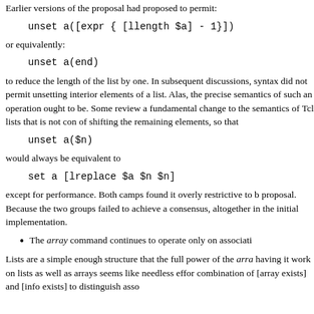Earlier versions of the proposal had proposed to permit:
or equivalently:
to reduce the length of the list by one. In subsequent discussions, syntax did not permit unsetting interior elements of a list. Alas, the precise semantics of such an operation ought to be. Some reviewers felt a fundamental change to the semantics of Tcl lists that is not con... of shifting the remaining elements, so that
would always be equivalent to
except for performance. Both camps found it overly restrictive to... proposal. Because the two groups failed to achieve a consensus, altogether in the initial implementation.
The array command continues to operate only on associati...
Lists are a simple enough structure that the full power of the array having it work on lists as well as arrays seems like needless effor... combination of [array exists] and [info exists] to distinguish asso...